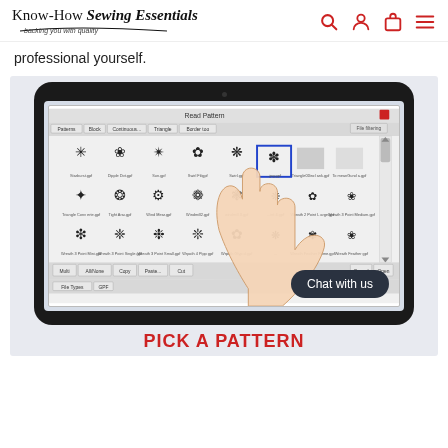Know-How Sewing Essentials — backing you with quality
professional yourself.
[Figure (screenshot): A tablet device showing a quilting/embroidery software interface with a grid of decorative circular patterns. A hand is pointing at one of the patterns on the touchscreen. A 'Chat with us' button overlay appears in the bottom right.]
PICK A PATTERN